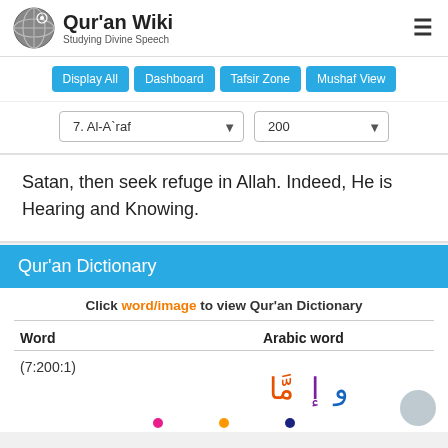Qur'an Wiki — Studying Divine Speech
Display All | Dashboard | Tafsir Zone | Mushaf View
7. Al-A`raf  200
Satan, then seek refuge in Allah. Indeed, He is Hearing and Knowing.
Qur'an Dictionary
Click word/image to view Qur'an Dictionary
| Word | Arabic word |
| --- | --- |
| (7:200:1) | وَإِمَّا |